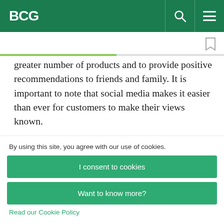BCG
greater number of products and to provide positive recommendations to friends and family. It is important to note that social media makes it easier than ever for customers to make their views known.
By using this site, you agree with our use of cookies.
I consent to cookies
Want to know more?
Read our Cookie Policy